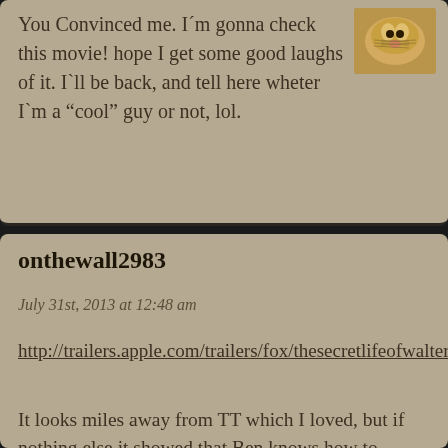You Convinced me. I´m gonna check this movie! hope I get some good laughs of it. I`ll be back, and tell here wheter I`m a "cool" guy or not, lol.
[Figure (photo): Small avatar image of a cat/lion face, top right corner of first comment block]
onthewall2983
July 31st, 2013 at 12:48 am
http://trailers.apple.com/trailers/fox/thesecretlifeofwaltermitty/
It looks miles away from TT which I loved, but if nothing else it showed that Ben knows how to